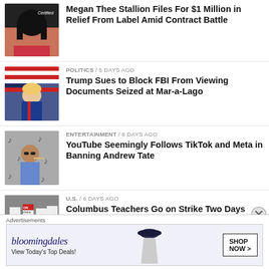[Figure (photo): Photo of Megan Thee Stallion at an event]
Megan Thee Stallion Files For $1 Million in Relief From Label Amid Contract Battle
[Figure (photo): Photo of Donald Trump in front of American flag]
POLITICS / 5 days ago
Trump Sues to Block FBI From Viewing Documents Seized at Mar-a-Lago
[Figure (photo): Photo of Andrew Tate with cigar in front of TikTok logos]
ENTERTAINMENT / 6 days ago
YouTube Seemingly Follows TikTok and Meta in Banning Andrew Tate
[Figure (photo): Black and white photo of Columbus teachers on strike with signs]
U.S. / 6 days ago
Columbus Teachers Go on Strike Two Days Before School Begins
[Figure (photo): Partial photo of next article]
U.S. / 6 days ago
Advertisements
[Figure (other): Bloomingdale's advertisement banner: bloomingdales — View Today's Top Deals! — SHOP NOW >]